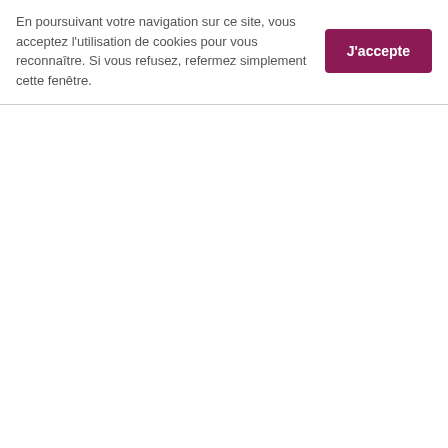En poursuivant votre navigation sur ce site, vous acceptez l'utilisation de cookies pour vous reconnaître. Si vous refusez, refermez simplement cette fenêtre.
J'accepte